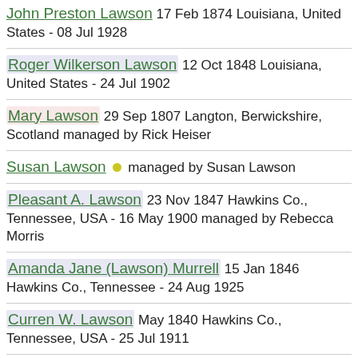John Preston Lawson 17 Feb 1874 Louisiana, United States - 08 Jul 1928
Roger Wilkerson Lawson 12 Oct 1848 Louisiana, United States - 24 Jul 1902
Mary Lawson 29 Sep 1807 Langton, Berwickshire, Scotland managed by Rick Heiser
Susan Lawson managed by Susan Lawson
Pleasant A. Lawson 23 Nov 1847 Hawkins Co., Tennessee, USA - 16 May 1900 managed by Rebecca Morris
Amanda Jane (Lawson) Murrell 15 Jan 1846 Hawkins Co., Tennessee - 24 Aug 1925
Curren W. Lawson May 1840 Hawkins Co., Tennessee, USA - 25 Jul 1911
James Lawson abt 1838 Hawkins Co., Tennessee, USA - 1920